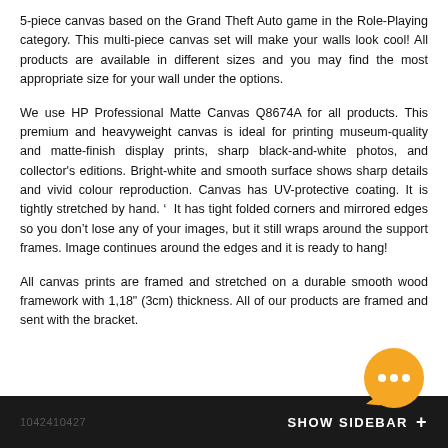5-piece canvas based on the Grand Theft Auto game in the Role-Playing category. This multi-piece canvas set will make your walls look cool! All products are available in different sizes and you may find the most appropriate size for your wall under the options.
We use HP Professional Matte Canvas Q8674A for all products. This premium and heavyweight canvas is ideal for printing museum-quality and matte-finish display prints, sharp black-and-white photos, and collector's editions. Bright-white and smooth surface shows sharp details and vivid colour reproduction. Canvas has UV-protective coating. It is tightly stretched by hand.' It has tight folded corners and mirrored edges so you don't lose any of your images, but it still wraps around the support frames. Image continues around the edges and it is ready to hang!
All canvas prints are framed and stretched on a durable smooth wood framework with 1,18" (3cm) thickness. All of our products are framed and sent with the bracket.
1042410427   SHOW SIDEBAR  +